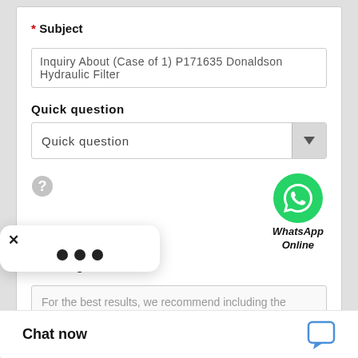* Subject
Inquiry About (Case of 1) P171635 Donaldson Hydraulic Filter
Quick question
Quick question
[Figure (illustration): Gray circle with question mark icon]
[Figure (logo): WhatsApp green phone icon with label 'WhatsApp Online']
* Message
For the best results, we recommend including the following details:
-Introduction
-Required specifications
[Figure (screenshot): Chat popup overlay with X close button and three dots loading indicator]
Chat now